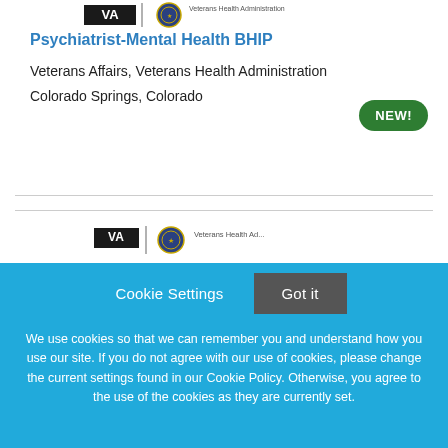[Figure (logo): VA Veterans Health Administration logo with circular seal and text]
Psychiatrist-Mental Health BHIP
Veterans Affairs, Veterans Health Administration
Colorado Springs, Colorado
NEW!
[Figure (logo): VA Veterans Health Administration logo with circular seal and text (second listing)]
Cookie Settings  Got it
We use cookies so that we can remember you and understand how you use our site. If you do not agree with our use of cookies, please change the current settings found in our Cookie Policy. Otherwise, you agree to the use of the cookies as they are currently set.